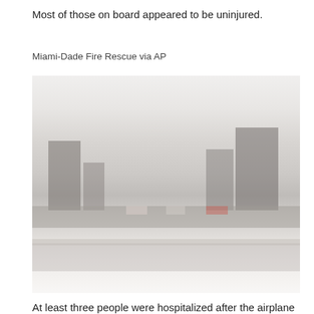Most of those on board appeared to be uninjured.
Miami-Dade Fire Rescue via AP
[Figure (photo): A hazy, foggy outdoor scene showing buildings in the background and a road or highway in the foreground with vehicles visible. The image appears to show an emergency situation scene, with low visibility conditions.]
At least three people were hospitalized after the airplane caught fire in the crash.
via REUTERS